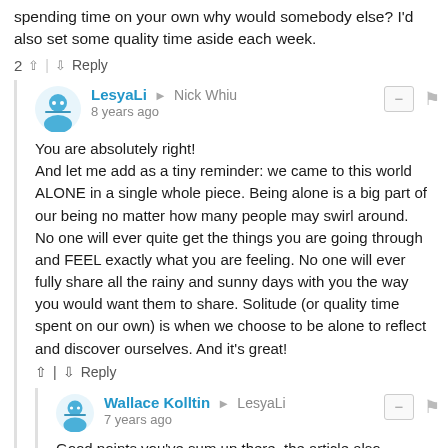spending time on your own why would somebody else? I'd also set some quality time aside each week.
2 ↑ | ↓ Reply
LesyaLi → Nick Whiu
8 years ago
You are absolutely right!
And let me add as a tiny reminder: we came to this world ALONE in a single whole piece. Being alone is a big part of our being no matter how many people may swirl around. No one will ever quite get the things you are going through and FEEL exactly what you are feeling. No one will ever fully share all the rainy and sunny days with you the way you would want them to share. Solitude (or quality time spent on our own) is when we choose to be alone to reflect and discover ourselves. And it's great!
↑ | ↓ Reply
Wallace Kolltin → LesyaLi
7 years ago
Good points you've sum up there, the article also mention on the previous lines, letting go our heavy expectation as